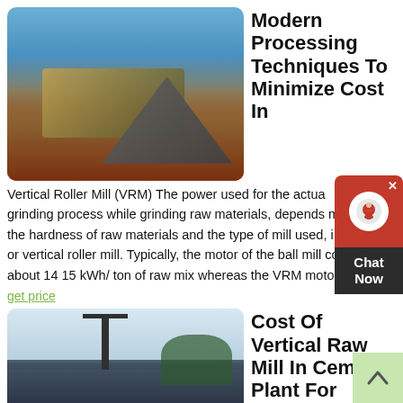[Figure (photo): Aerial view of a mining/aggregate processing facility with large piles of dark gravel, processing equipment, and red-orange earth on a sunny day]
Modern Processing Techniques To Minimize Cost In
Vertical Roller Mill (VRM) The power used for the actual grinding process while grinding raw materials, depends mainly on the hardness of raw materials and the type of mill used, i.e. ball mill or vertical roller mill. Typically, the motor of the ball mill consumes about 14 15 kWh/ ton of raw mix whereas the VRM motor
get price
[Figure (photo): Construction site with crane and machinery against a cloudy sky with green trees in the background]
Cost Of Vertical Raw Mill In Cement Plant For Oversea